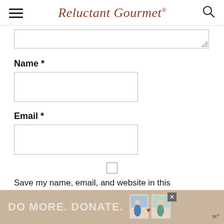Reluctant Gourmet
Name *
Email *
Save my name, email, and website in this browser for the next time I comment.
POST COMMENT
[Figure (screenshot): Advertisement banner: DO MORE. DONATE. with illustration of two people and a close button]